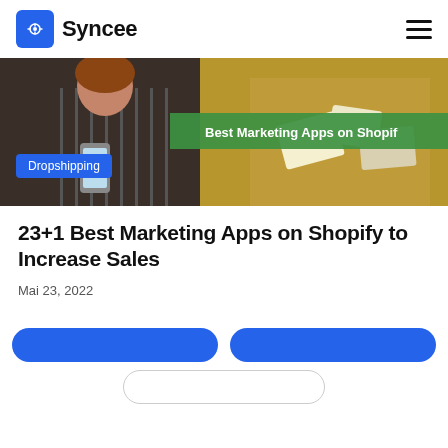Syncee
[Figure (photo): Hero banner image showing a woman in striped shirt holding a phone, with a green banner reading 'Best Marketing Apps on Shopify' and a blue 'Dropshipping' badge in the lower left.]
23+1 Best Marketing Apps on Shopify to Increase Sales
Mai 23, 2022